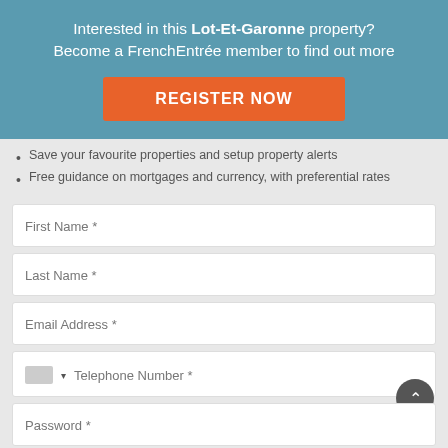Interested in this Lot-Et-Garonne property? Become a FrenchEntrée member to find out more
REGISTER NOW
Save your favourite properties and setup property alerts
Free guidance on mortgages and currency, with preferential rates
First Name *
Last Name *
Email Address *
Telephone Number *
Password  *
Repeat Password  *
I would like guidance on: